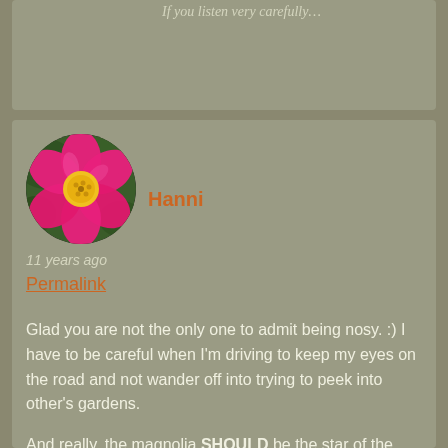If you listen very carefully…
[Figure (photo): Circular avatar photo of a bright pink and yellow flower (zinnia or similar) with green foliage in background]
Hanni
11 years ago
Permalink
Glad you are not the only one to admit being nosy. :) I have to be careful when I'm driving to keep my eyes on the road and not wander off into trying to peek into other's gardens.
And really, the magnolia SHOULD be the star of the show. I am glad you posted as many photos of it as you did. I can very nearly smell it through the